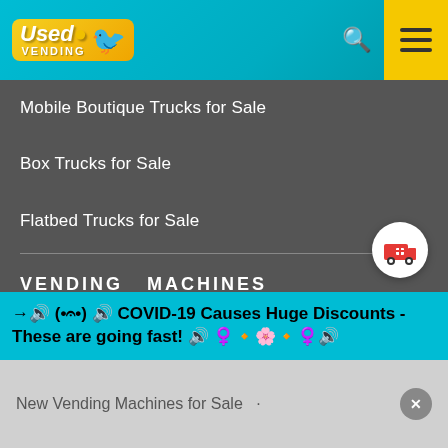[Figure (screenshot): Used Vending website logo with yellow bird mascot on gradient teal header with search and hamburger menu icons]
Mobile Boutique Trucks for Sale
Box Trucks for Sale
Flatbed Trucks for Sale
VENDING  MACHINES
Used Vending Machines for Sale
Soda Machines for Sale
Snack Vending Machines for Sale
Combo Vending Machines for Sale
Coffee Machines for Sale
→🔊 (•𝄐•) 🔊 COVID-19 Causes Huge Discounts - These are going fast! 🔊 ♀️•🌸•♀️🔊
New Vending Machines for Sale